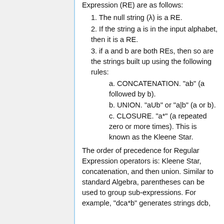Expression (RE) are as follows:
1. The null string (λ) is a RE.
2. If the string a is in the input alphabet, then it is a RE.
3. if a and b are both REs, then so are the strings built up using the following rules:
a. CONCATENATION. "ab" (a followed by b).
b. UNION. "aUb" or "a|b" (a or b).
c. CLOSURE. "a*" (a repeated zero or more times). This is known as the Kleene Star.
The order of precedence for Regular Expression operators is: Kleene Star, concatenation, and then union. Similar to standard Algebra, parentheses can be used to group sub-expressions. For example, "dca*b" generates strings dcb,